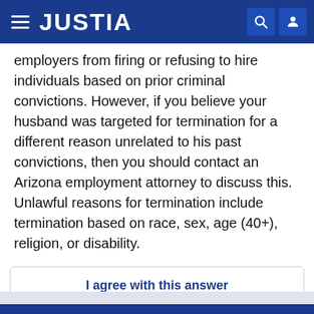JUSTIA
employers from firing or refusing to hire individuals based on prior criminal convictions. However, if you believe your husband was targeted for termination for a different reason unrelated to his past convictions, then you should contact an Arizona employment attorney to discuss this. Unlawful reasons for termination include termination based on race, sex, age (40+), religion, or disability.
I agree with this answer
Report